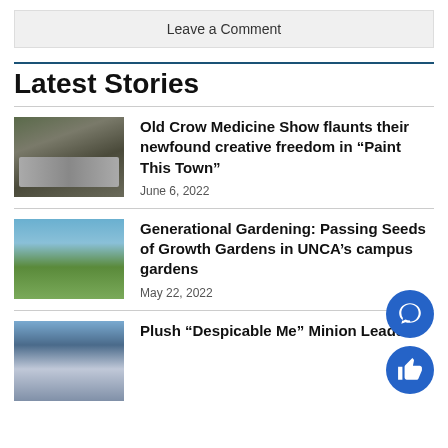Leave a Comment
Latest Stories
[Figure (photo): Band members sitting on and around a car outdoors]
Old Crow Medicine Show flaunts their newfound creative freedom in “Paint This Town”
June 6, 2022
[Figure (photo): Two people standing in front of a garden sign outdoors]
Generational Gardening: Passing Seeds of Growth Gardens in UNCA’s campus gardens
May 22, 2022
[Figure (photo): Group of people in blue shirts outdoors]
Plush “Despicable Me” Minion Leads